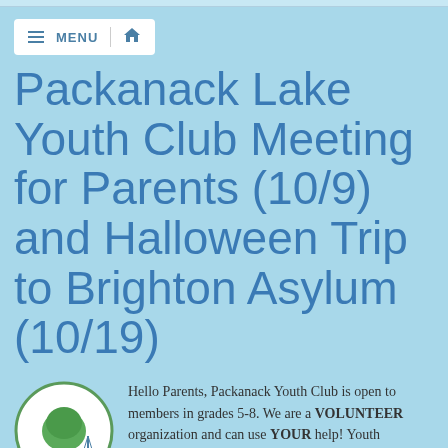MENU
Packanack Lake Youth Club Meeting for Parents (10/9) and Halloween Trip to Brighton Asylum (10/19)
[Figure (logo): Packanack Lake Community Association (PLCA) circular logo with green tree and sailboat illustration]
Hello Parents, Packanack Youth Club is open to members in grades 5-8. We are a VOLUNTEER organization and can use YOUR help! Youth